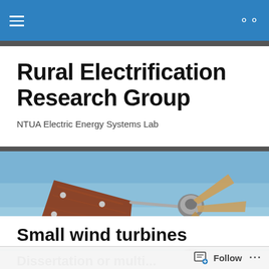Rural Electrification Research Group
NTUA Electric Energy Systems Lab
[Figure (photo): Small wind turbine mounted on a pole outdoors against a blue sky, with a wooden tail vane on the left and wooden blades visible on the right side of the hub.]
Small wind turbines
Dissertation or...